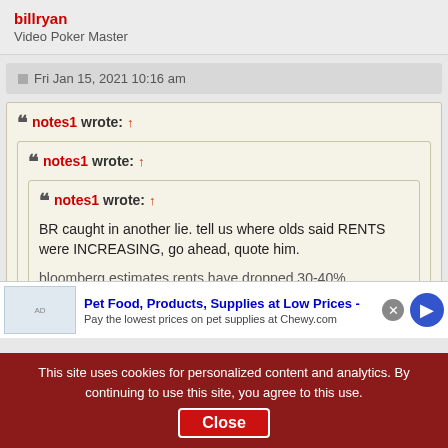billryan
Video Poker Master
Fri Jan 15, 2021 10:16 am
notes1 wrote: ↑
notes1 wrote: ↑
notes1 wrote: ↑
BR caught in another lie. tell us where olds said RENTS were INCREASING, go ahead, quote him.
bloomberg estimates rents have dropped 30-40%
Pet Food, Products, Supplies at Low Prices -
Pay the lowest prices on pet supplies at Chewy.com
This site uses cookies for personalized content and analytics. By continuing to use this site, you agree to this use. Close